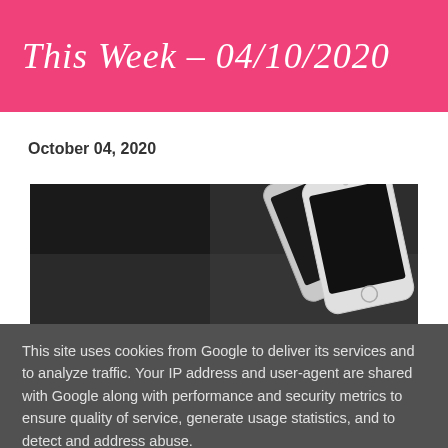This Week – 04/10/2020
October 04, 2020
[Figure (photo): Photo of two smartphones with dark background, showing white/silver devices at an angle]
This site uses cookies from Google to deliver its services and to analyze traffic. Your IP address and user-agent are shared with Google along with performance and security metrics to ensure quality of service, generate usage statistics, and to detect and address abuse.
LEARN MORE    OK